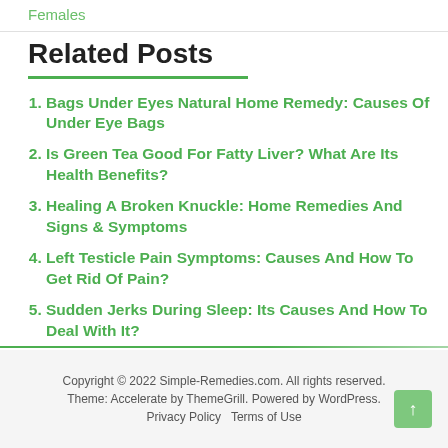Females
Related Posts
Bags Under Eyes Natural Home Remedy: Causes Of Under Eye Bags
Is Green Tea Good For Fatty Liver? What Are Its Health Benefits?
Healing A Broken Knuckle: Home Remedies And Signs & Symptoms
Left Testicle Pain Symptoms: Causes And How To Get Rid Of Pain?
Sudden Jerks During Sleep: Its Causes And How To Deal With It?
Copyright © 2022 Simple-Remedies.com. All rights reserved. Theme: Accelerate by ThemeGrill. Powered by WordPress. Privacy Policy  Terms of Use